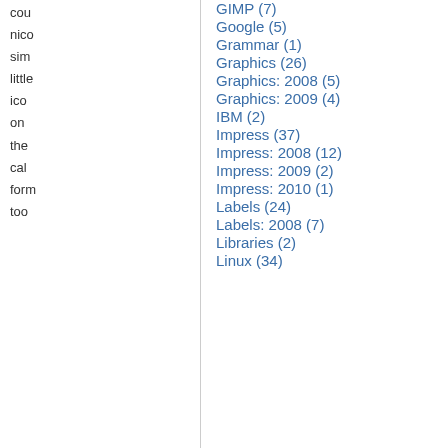cou nico sim little ico on the cal form too
GIMP (7)
Google (5)
Grammar (1)
Graphics (26)
Graphics: 2008 (5)
Graphics: 2009 (4)
IBM (2)
Impress (37)
Impress: 2008 (12)
Impress: 2009 (2)
Impress: 2010 (1)
Labels (24)
He the too for num for
Labels: 2008 (7)
Libraries (2)
Linux (34)